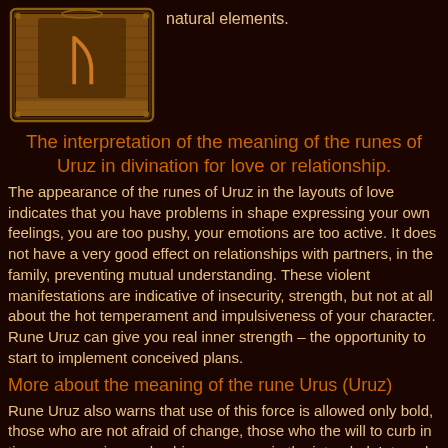[Figure (illustration): Decorative rune scroll image with golden border on dark background showing Uruz rune symbol]
natural elements.
The interpretation of the meaning of the runes of Uruz in divination for love or relationship.
The appearance of the runes of Uruz in the layouts of love indicates that you have problems in shape expressing your own feelings, you are too pushy, your emotions are too active. It does not have a very good effect on relationships with partners, in the family, preventing mutual understanding. These violent manifestations are indicative of insecurity, strength, but not at all about the hot temperament and impulsiveness of your character. Rune Uruz can give you real inner strength – the opportunity to start to implement conceived plans.
More about the meaning of the rune Urus (Uruz)
Rune Uruz also warns that use of this force is allowed only bold, those who are not afraid of change, those who the will to curb in time own passion and achieve success in the intended. Internal self-confidence, excitement, and